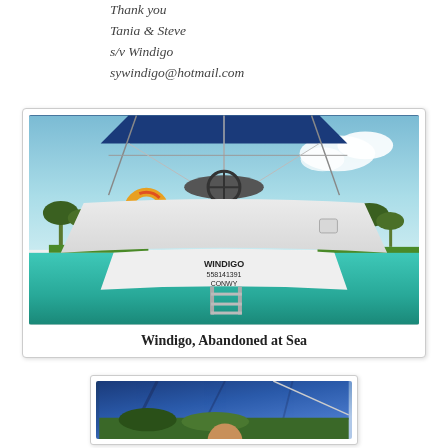Thank you
Tania & Steve
s/v Windigo
sywindigo@hotmail.com
[Figure (photo): Photograph of the stern of sailing vessel Windigo, showing the boat's transom with 'WINDIGO 558141391 CONWY' lettering, a yellow life ring, cockpit, blue bimini, rigging, against turquoise water and tropical island background]
Windigo, Abandoned at Sea
[Figure (photo): Partial photograph showing a blue bimini/sail cover and a person's head below, with tropical greenery in background]